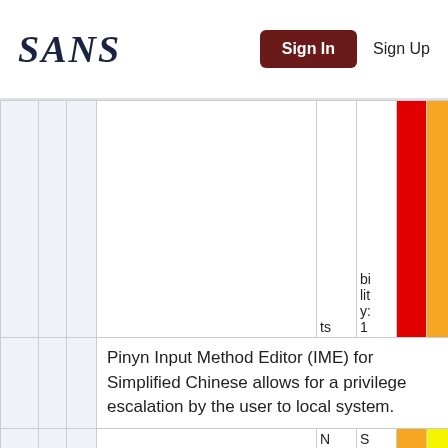SANS  Sign In  Sign Up
|  |  |  |  | ts | bi
lit
y:
1 | [red] | [orange] |
|  |  |  | Pinyn Input Method Editor (IME) for Simplified Chinese allows for a privilege escalation by the user to local system. |  |  |  |  |
|  |  |  |  | No
p | Se
ve
ri
ty | [orange] | [yellow] |